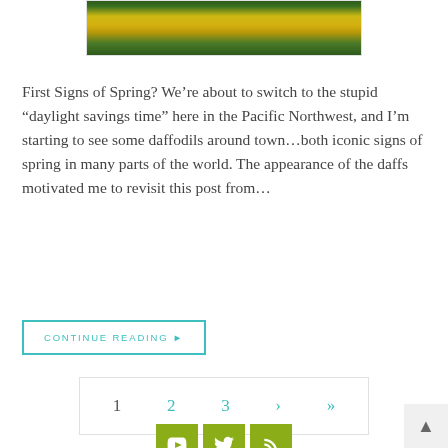[Figure (photo): Partial view of yellow daffodils with green stems and dark background, shown in a bordered frame. Top portion of the image is visible.]
First Signs of Spring? We’re about to switch to the stupid “daylight savings time” here in the Pacific Northwest, and I’m starting to see some daffodils around town…both iconic signs of spring in many parts of the world. The appearance of the daffs motivated me to revisit this post from…
CONTINUE READING ►
1
2
3
›
»
[Figure (other): Three olive-green social media icon buttons: YouTube, Twitter, and RSS feed icons]